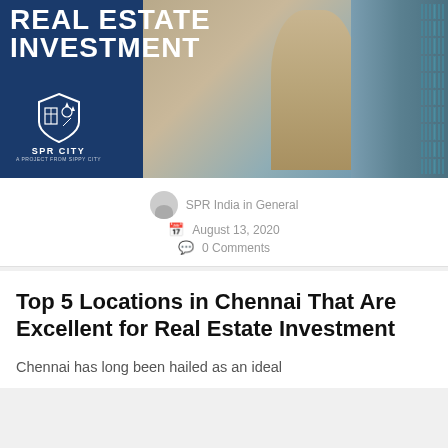[Figure (photo): Banner image showing tall modern buildings/skyscrapers against a dark navy blue background with text 'REAL ESTATE INVESTMENT' and SPR City logo]
SPR India in General
August 13, 2020
0 Comments
Top 5 Locations in Chennai That Are Excellent for Real Estate Investment
Chennai has long been hailed as an ideal